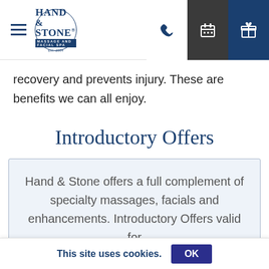Hand & Stone Massage and Facial Spa — navigation header
recovery and prevents injury. These are benefits we can all enjoy.
Introductory Offers
Hand & Stone offers a full complement of specialty massages, facials and enhancements. Introductory Offers valid for
This site uses cookies. OK